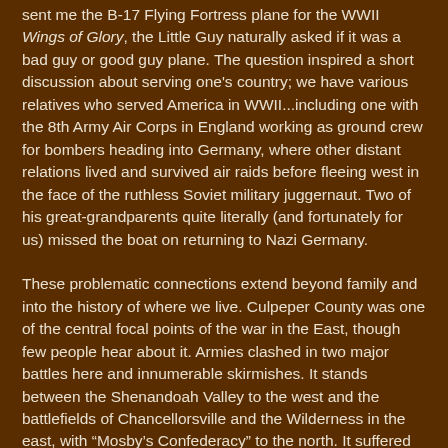sent me the B-17 Flying Fortress plane for the WWII Wings of Glory, the Little Guy naturally asked if it was a bad guy or good guy plane. The question inspired a short discussion about serving one's country; we have various relatives who served America in WWII...including one with the 8th Army Air Corps in England working as ground crew for bombers heading into Germany, where other distant relations lived and survived air raids before fleeing west in the face of the ruthless Soviet military juggernaut. Two of his great-grandparents quite literally (and fortunately for us) missed the boat on returning to Nazi Germany.
These problematic connections extend beyond family and into the history of where we live. Culpeper County was one of the central focal points of the war in the East, though few people hear about it. Armies clashed in two major battles here and innumerable skirmishes. It stands between the Shenandoah Valley to the west and the battlefields of Chancellorsville and the Wilderness in the east, with “Mosby’s Confederacy” to the north. It suffered occupation by Union armies. At a recent convention the Little Guy